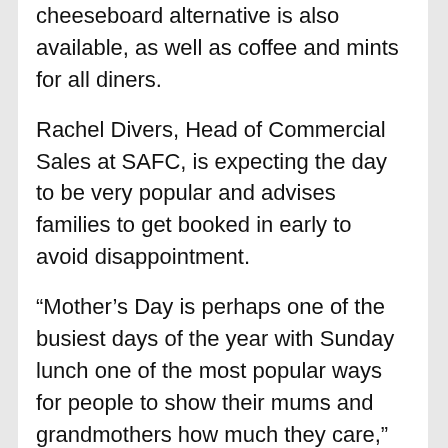cheeseboard alternative is also available, as well as coffee and mints for all diners.
Rachel Divers, Head of Commercial Sales at SAFC, is expecting the day to be very popular and advises families to get booked in early to avoid disappointment.
“Mother’s Day is perhaps one of the busiest days of the year with Sunday lunch one of the most popular ways for people to show their mums and grandmothers how much they care,” she said.
“We believe every mum should be made to feel wonderful on this special day, and we’ve created